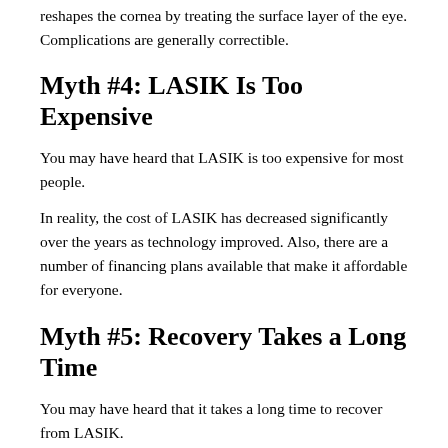reshapes the cornea by treating the surface layer of the eye. Complications are generally correctible.
Myth #4: LASIK Is Too Expensive
You may have heard that LASIK is too expensive for most people.
In reality, the cost of LASIK has decreased significantly over the years as technology improved. Also, there are a number of financing plans available that make it affordable for everyone.
Myth #5: Recovery Takes a Long Time
You may have heard that it takes a long time to recover from LASIK.
In reality, LASIK recovery is fast and easy with no significant downtime. Most patients have improved vision immediately after the procedure is completed. Complete recovery takes only about 24 hours.